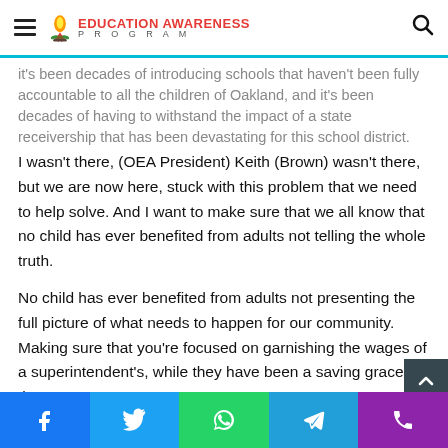EDUCATION AWARENESS PROGRAM
it's been decades of introducing schools that haven't been fully accountable to all the children of Oakland, and it's been decades of having to withstand the impact of a state receivership that has been devastating for this school district.
I wasn't there, (OEA President) Keith (Brown) wasn't there, but we are now here, stuck with this problem that we need to help solve. And I want to make sure that we all know that no child has ever benefited from adults not telling the whole truth.
No child has ever benefited from adults not presenting the full picture of what needs to happen for our community. Making sure that you're focused on garnishing the wages of a superintendent's, while they have been a saving grace, that...
Facebook Twitter WhatsApp Telegram Phone